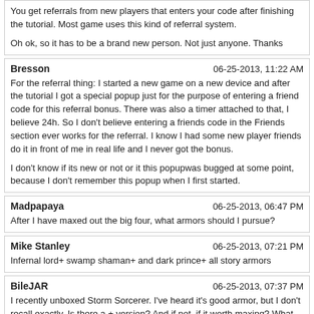You get referrals from new players that enters your code after finishing the tutorial. Most game uses this kind of referral system.

Oh ok, so it has to be a brand new person. Not just anyone. Thanks
Bresson
06-25-2013, 11:22 AM
For the referral thing: I started a new game on a new device and after the tutorial I got a special popup just for the purpose of entering a friend code for this referral bonus. There was also a timer attached to that, I believe 24h. So I don't believe entering a friends code in the Friends section ever works for the referral. I know I had some new player friends do it in front of me in real life and I never got the bonus.

I don't know if its new or not or it this popupwas bugged at some point, because I don't remember this popup when I first started.
Madpapaya
06-25-2013, 06:47 PM
After I have maxed out the big four, what armors should I pursue?
Mike Stanley
06-25-2013, 07:21 PM
Infernal lord+ swamp shaman+ and dark prince+ all story armors
BileJAR
06-25-2013, 07:37 PM
I recently unboxed Storm Sorcerer. I've heard it's good armor, but I don't recall exactly. Is there a + version? And if not, if it worth maxing? What are the stats.
Genocide788
06-25-2013, 07:41 PM